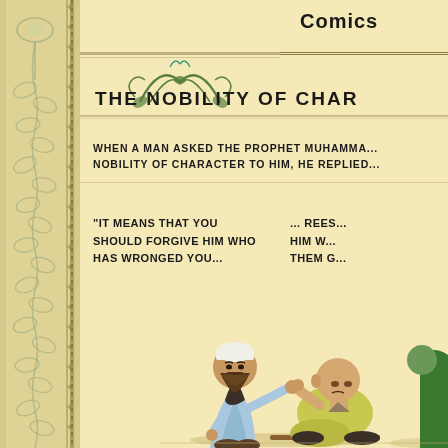Comics
THE NOBILITY OF CHAR...
WHEN A MAN ASKED THE PROPHET MUHAMMA... NOBILITY OF CHARACTER TO HIM, HE REPLIED...
"IT MEANS THAT YOU SHOULD FORGIVE HIM WHO HAS WRONGED YOU...
... REES... HIM W... THEM G...
[Figure (illustration): Comic illustration showing two men: one bearded man in white cap and blue robe helping/holding hands with a bald seated man in yellow-green clothing, with a stick on the ground. Partial view of another figure in green on the right edge.]